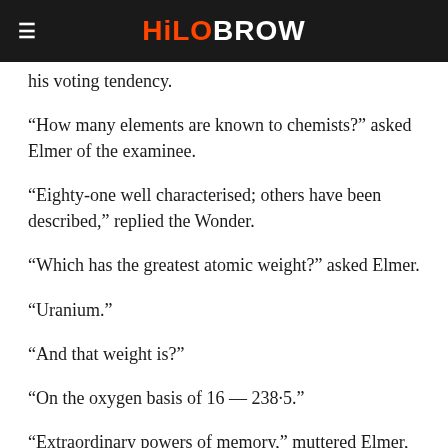HiloBROW
his voting tendency.
“How many elements are known to chemists?” asked Elmer of the examinee.
“Eighty-one well characterised; others have been described,” replied the Wonder.
“Which has the greatest atomic weight?” asked Elmer.
“Uranium.”
“And that weight is?”
“On the oxygen basis of 16 — 238·5.”
“Extraordinary powers of memory,” muttered Elmer, and there was silence for a moment, a silence broken by Squire Standing, who, in a loud voice,